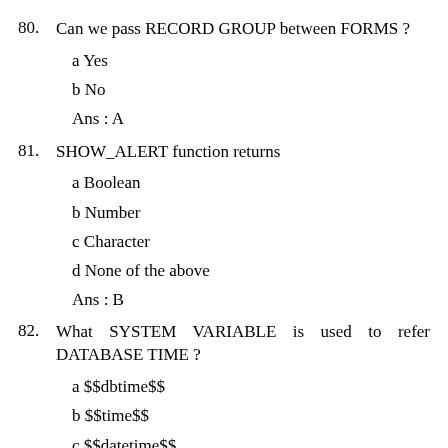80. Can we pass RECORD GROUP between FORMS ?
a Yes
b No
Ans : A
81. SHOW_ALERT function returns
a Boolean
b Number
c Character
d None of the above
Ans : B
82. What SYSTEM VARIABLE is used to refer DATABASE TIME ?
a $$dbtime$$
b $$time$$
c $$datetime$$
d None of the above